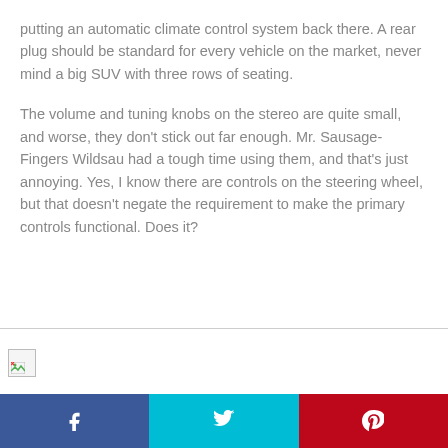putting an automatic climate control system back there. A rear plug should be standard for every vehicle on the market, never mind a big SUV with three rows of seating.
The volume and tuning knobs on the stereo are quite small, and worse, they don't stick out far enough. Mr. Sausage-Fingers Wildsau had a tough time using them, and that's just annoying. Yes, I know there are controls on the steering wheel, but that doesn't negate the requirement to make the primary controls functional. Does it?
[Figure (photo): Broken/missing image placeholder with a small broken image icon in the upper-left corner, separated from the text by a horizontal rule.]